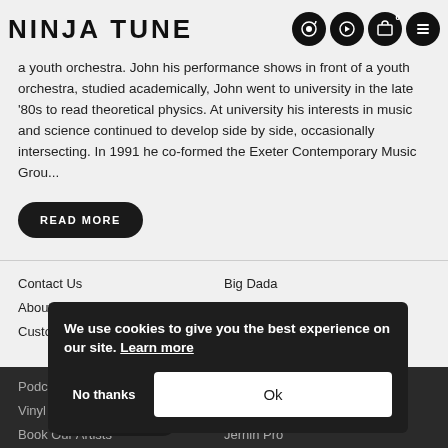NINJA TUNE
a youth orchestra. John his performance shows in front of a youth orchestra, studied academically, John went to university in the late '80s to read theoretical physics. At university his interests in music and science continued to develop side by side, occasionally intersecting. In 1991 he co-formed the Exeter Contemporary Music Grou...
READ MORE
Contact Us
About Us
Customer Support
Big Dada
Counter
Brainfeeder
Podcast
Vinyl Downloads
Book Our Artists
Werkdiscs
Solid Steel
Jernih Pro
Terms
Ninja Tune Publishing
Privacy Policy
Sustainability...
We use cookies to give you the best experience on our site. Learn more
No thanks
Ok
Cookie Policy